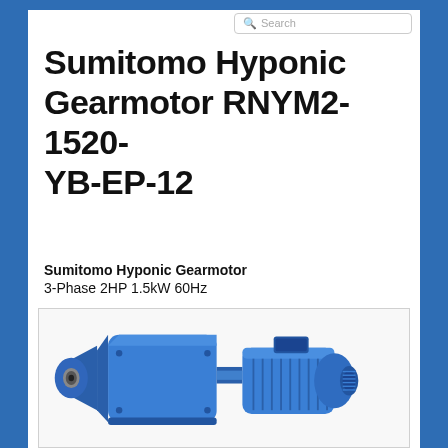Search
Sumitomo Hyponic Gearmotor RNYM2-1520-YB-EP-12
Sumitomo Hyponic Gearmotor
3-Phase 2HP 1.5kW 60Hz
[Figure (photo): Photograph of a blue Sumitomo Hyponic Gearmotor unit with a hollow shaft output on the left and an attached motor on the right, viewed from a three-quarter angle.]